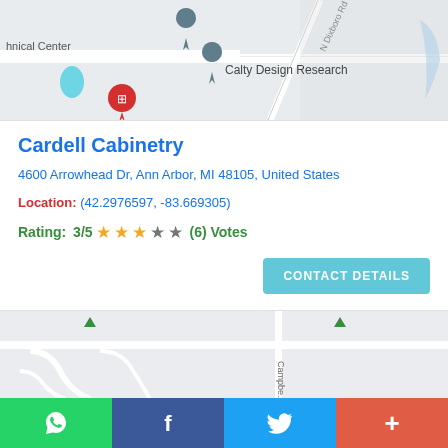[Figure (map): Google Maps snippet showing Calty Design Research location with map pin, roads including N Dixboro Rd, and a red pin marker for Ann Arbor location]
Cardell Cabinetry
4600 Arrowhead Dr, Ann Arbor, MI 48105, United States
Location: (42.2976597, -83.669305)
Rating: 3/5 ★★★☆☆ (6) Votes
CONTACT DETAILS
[Figure (map): Second Google Maps snippet showing a road with Campbe... label and green navigation markers]
WhatsApp share button, Facebook share button, Twitter share button, Plus/share button